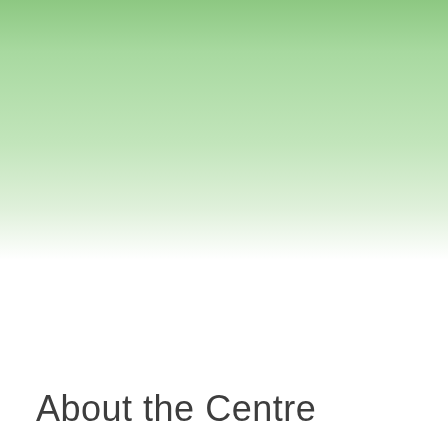[Figure (illustration): Green gradient background fading from medium green at the top to white at the bottom, occupying the upper portion of the page.]
About the Centre